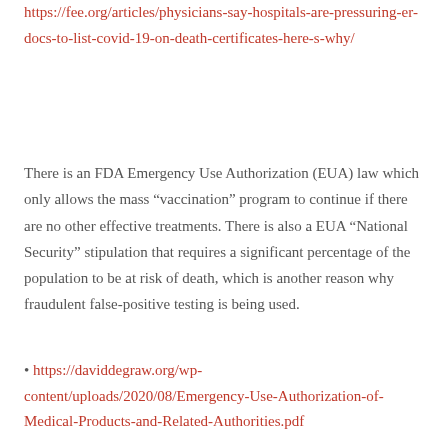https://fee.org/articles/physicians-say-hospitals-are-pressuring-er-docs-to-list-covid-19-on-death-certificates-here-s-why/
There is an FDA Emergency Use Authorization (EUA) law which only allows the mass “vaccination” program to continue if there are no other effective treatments. There is also a EUA “National Security” stipulation that requires a significant percentage of the population to be at risk of death, which is another reason why fraudulent false-positive testing is being used.
• https://daviddegraw.org/wp-content/uploads/2020/08/Emergency-Use-Authorization-of-Medical-Products-and-Related-Authorities.pdf